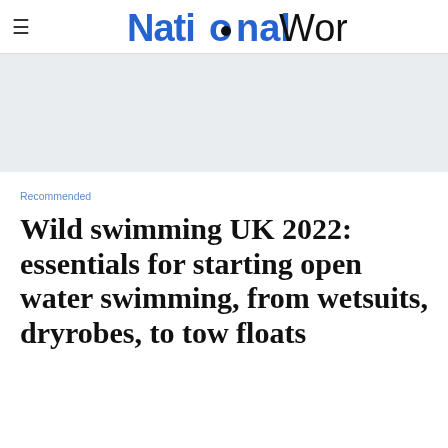[Figure (logo): NationalWorld logo with hamburger menu icon on the left]
[Figure (other): Advertisement banner area with light grey background]
Recommended
Wild swimming UK 2022: essentials for starting open water swimming, from wetsuits, dryrobes, to tow floats